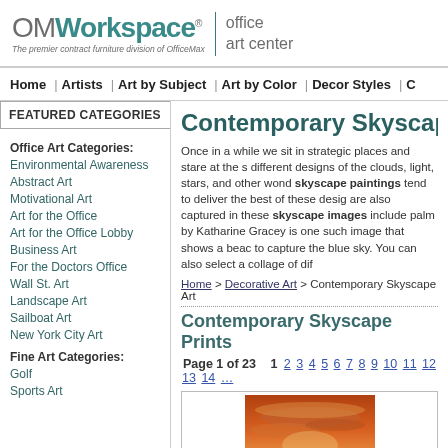[Figure (logo): OMWorkspace office art center logo with tagline 'The premier contract furniture division of OfficeMax']
Home | Artists | Art by Subject | Art by Color | Decor Styles | C…
FEATURED CATEGORIES
Contemporary Skyscape Art
Once in a while we sit in strategic places and stare at the s… different designs of the clouds, light, stars, and other wond… skyscape paintings tend to deliver the best of these desig… are also captured in these skyscape images include palm… by Katharine Gracey is one such image that shows a beac… to capture the blue sky. You can also select a collage of dif…
Home > Decorative Art > Contemporary Skyscape Art
Contemporary Skyscape Prints
Page 1 of 23   1 2 3 4 5 6 7 8 9 10 11 12 13 14 …
Office Art Categories:
Environmental Awareness
Abstract Art
Motivational Art
Art for the Office
Art for the Office Lobby
Business Art
For the Doctors Office
Wall St. Art
Landscape Art
Sailboat Art
New York City Art
Fine Art Categories:
Golf
Sports Art
[Figure (photo): A sunset sky painting with orange and red clouds over a dark landscape]